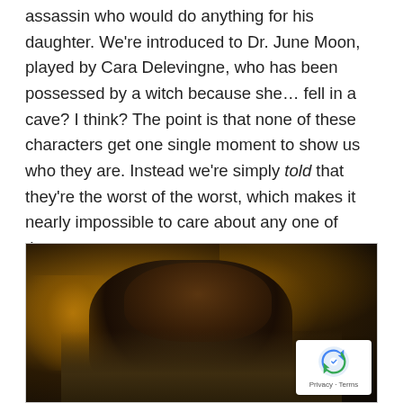assassin who would do anything for his daughter. We're introduced to Dr. June Moon, played by Cara Delevingne, who has been possessed by a witch because she… fell in a cave? I think? The point is that none of these characters get one single moment to show us who they are. Instead we're simply told that they're the worst of the worst, which makes it nearly impossible to care about any one of them.
[Figure (photo): A dark, warm-toned movie still showing a Black woman in a textured jacket, looking to the side with a serious expression. The background has warm golden bokeh lighting.]